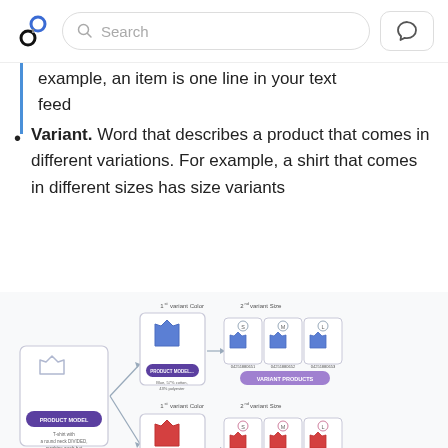Search
example, an item is one line in your text feed
Variant. Word that describes a product that comes in different variations. For example, a shirt that comes in different sizes has size variants
[Figure (infographic): Diagram showing product model and variant structure. A product model (T-shirt with a round neck, DIVIDED, machine wash hot) splits into two color variants via 1st variant Color: blue (Product Model - Blue, 57% cotton, 43% polyester) and red (Product Model - Red, 110% cotton). Each color variant then splits into size variants (S, M, L) via 2nd variant Size, showing variant product IDs like 04251880651, 04251880652, 04251880653 for blue and 04251880654, 04251880655, 04251880656 for red.]